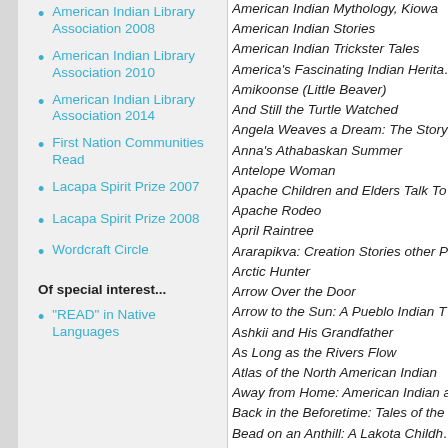American Indian Library Association 2008
American Indian Library Association 2010
American Indian Library Association 2014
First Nation Communities Read
Lacapa Spirit Prize 2007
Lacapa Spirit Prize 2008
Wordcraft Circle
Of special interest...
"READ" in Native Languages
American Indian Mythology, Kiowa
American Indian Stories
American Indian Trickster Tales
America's Fascinating Indian Heritage
Amikoonse (Little Beaver)
And Still the Turtle Watched
Angela Weaves a Dream: The Story
Anna's Athabaskan Summer
Antelope Woman
Apache Children and Elders Talk To
Apache Rodeo
April Raintree
Ararapikva: Creation Stories other P
Arctic Hunter
Arrow Over the Door
Arrow to the Sun: A Pueblo Indian T
Ashkii and His Grandfather
As Long as the Rivers Flow
Atlas of the North American Indian
Away from Home: American Indian a
Back in the Beforetime: Tales of the
Bead on an Anthill: A Lakota Childhood
Bears Make Rock Soup and other s
Behind Closed Doors: Stories from a
Beneath the Stone: A Mexican Zapotec